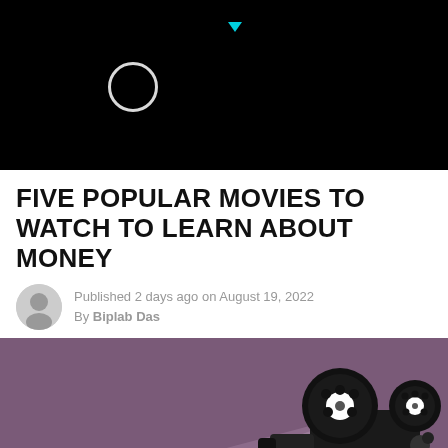[Figure (screenshot): Black header area with a loading spinner circle and a small cyan downward-pointing arrow, resembling a website loading state]
FIVE POPULAR MOVIES TO WATCH TO LEARN ABOUT MONEY
Published 2 days ago on August 19, 2022
By Biplab Das
[Figure (illustration): Illustrated movie projector on a purple/mauve background with film strip reel at the bottom and light beam projecting to the left. Flat design style.]